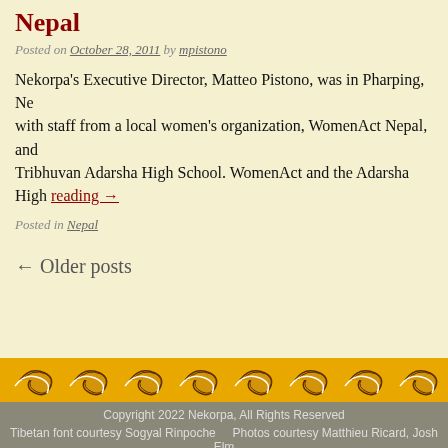Nepal
Posted on October 28, 2011 by mpistono
Nekorpa's Executive Director, Matteo Pistono, was in Pharping, Ne... with staff from a local women's organization, WomenAct Nepal, and... Tribhuvan Adarsha High School. WomenAct and the Adarsha High... reading →
Posted in Nepal
← Older posts
[Figure (illustration): Decorative golden Tibetan/Buddhist cloud scroll pattern band in gold, brown, and white]
Copyright 2022 Nekorpa, All Rights Reserved
Tibetan font courtesy Sogyal Rinpoche    Photos courtesy Matthieu Ricard, Josh Elm...